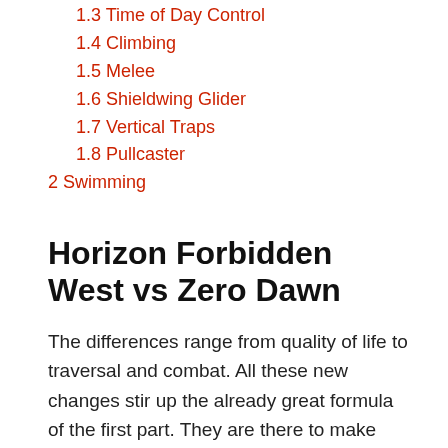1.3 Time of Day Control
1.4 Climbing
1.5 Melee
1.6 Shieldwing Glider
1.7 Vertical Traps
1.8 Pullcaster
2 Swimming
Horizon Forbidden West vs Zero Dawn
The differences range from quality of life to traversal and combat. All these new changes stir up the already great formula of the first part. They are there to make things easy when exploring the